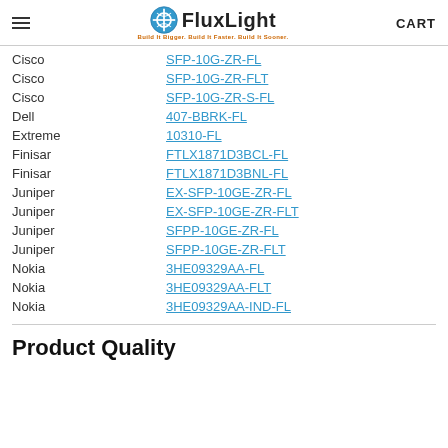FluxLight — Build It Bigger. Build It Faster. Build It Sooner. CART
| Brand | Part Number |
| --- | --- |
| Cisco | SFP-10G-ZR-FL |
| Cisco | SFP-10G-ZR-FLT |
| Cisco | SFP-10G-ZR-S-FL |
| Dell | 407-BBRK-FL |
| Extreme | 10310-FL |
| Finisar | FTLX1871D3BCL-FL |
| Finisar | FTLX1871D3BNL-FL |
| Juniper | EX-SFP-10GE-ZR-FL |
| Juniper | EX-SFP-10GE-ZR-FLT |
| Juniper | SFPP-10GE-ZR-FL |
| Juniper | SFPP-10GE-ZR-FLT |
| Nokia | 3HE09329AA-FL |
| Nokia | 3HE09329AA-FLT |
| Nokia | 3HE09329AA-IND-FL |
Product Quality